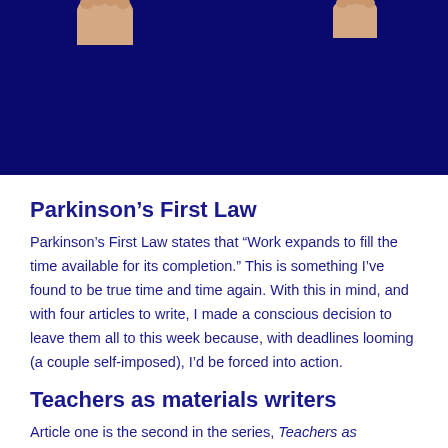[Figure (photo): Dark navy blue background with two hands visible at the top, one on the left and one on the right side of the image.]
Parkinson’s First Law
Parkinson’s First Law states that “Work expands to fill the time available for its completion.” This is something I’ve found to be true time and time again. With this in mind, and with four articles to write, I made a conscious decision to leave them all to this week because, with deadlines looming (a couple self-imposed), I’d be forced into action.
Teachers as materials writers
Article one is the second in the series, Teachers as